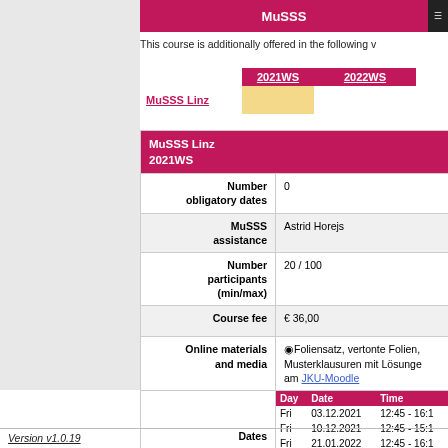MuSSS
This course is additionally offered in the following w
|  | 2021WS | 2022WS |
| --- | --- | --- |
| MuSSS Linz | (filled) |  |
MuSSS Linz 2021WS
| Field | Value |
| --- | --- |
| Number obligatory dates | 0 |
| MuSSS assistance | Astrid Horejs |
| Number participants (min/max) | 20 / 100 |
| Course fee | € 36,00 |
| Online materials and media | Foliensatz, vertonte Folien, Musterklausuren mit Lösunge am JKU-Moodle |
| Dates | Day Date Time
Fri 03.12.2021 12:45 - 16:1
Fri 10.12.2021 12:45 - 15:1
Fri 21.01.2022 12:45 - 16:1
Fri 28.01.2022 12:45 - 15:1 |
Version v1.0.19